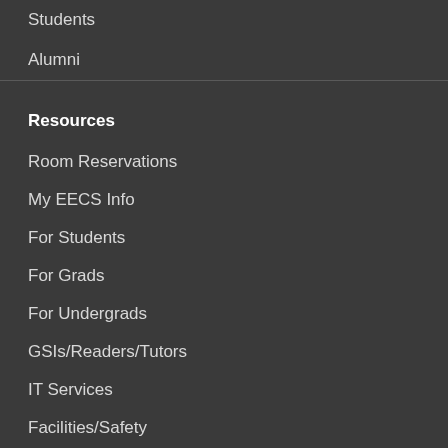Students
Alumni
Resources
Room Reservations
My EECS Info
For Students
For Grads
For Undergrads
GSIs/Readers/Tutors
IT Services
Facilities/Safety
For Faculty/Staff
Visiting Scholars